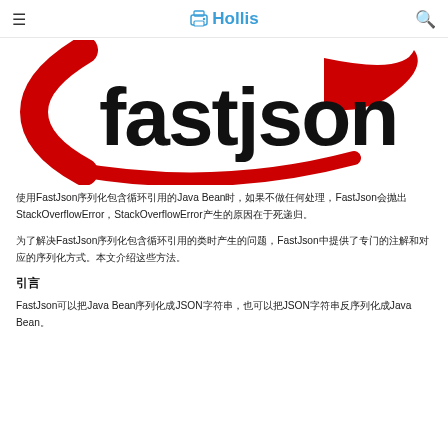≡  🖨 Hollis  🔍
[Figure (logo): FastJson logo with red swoosh/parenthesis shapes and black bold text 'fastjson']
使用FastJson序列化包含循环引用的Java Bean时，如果不做任何处理，FastJson会抛出StackOverflowError，StackOverflowError产生的原因在于死递归。
为了解决FastJson序列化包含循环引用的类时产生的问题，FastJson中提供了专门的注解和对应的序列化方式。本文介绍这些方法。
引言
FastJson可以把Java Bean序列化成JSON字符串，也可以把JSON字符串反序列化成Java Bean。